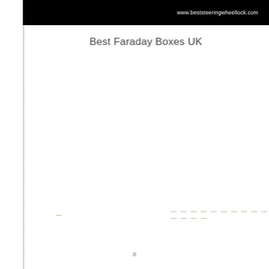www.beststeeringwheellock.com
Best Faraday Boxes UK